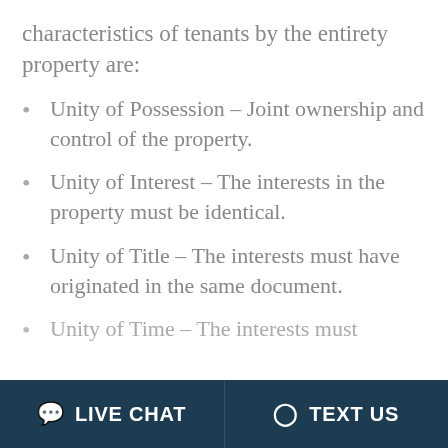characteristics of tenants by the entirety property are:
Unity of Possession – Joint ownership and control of the property.
Unity of Interest – The interests in the property must be identical.
Unity of Title – The interests must have originated in the same document.
Unity of Time – The interests must
LIVE CHAT  TEXT US